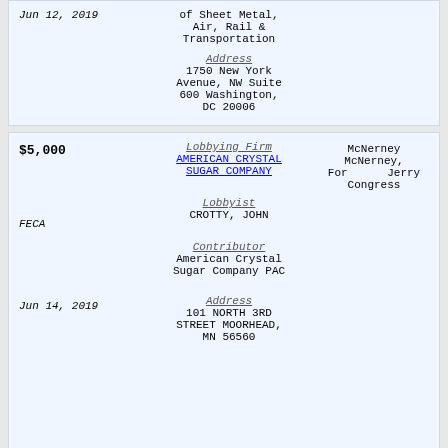| Amount/Date | Firm/Lobbyist/Contributor/Address | Recipient |
| --- | --- | --- |
| Jun 12, 2019 | of Sheet Metal, Air, Rail & Transportation
Address
1750 New York Avenue, NW Suite 600 Washington, DC 20006 |  |
| $5,000
FECA
Jun 14, 2019 | Lobbying Firm
AMERICAN CRYSTAL SUGAR COMPANY
Lobbyist
CROTTY, JOHN
Contributor
American Crystal Sugar Company PAC
Address
101 NORTH 3RD STREET MOORHEAD, MN 56560 | McNerney For Congress  McNerney, Jerry |
|  |  | McNerney For |